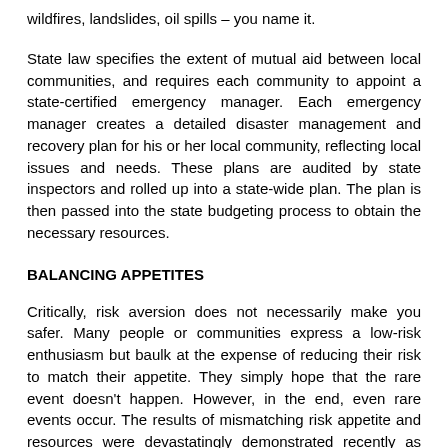wildfires, landslides, oil spills – you name it.
State law specifies the extent of mutual aid between local communities, and requires each community to appoint a state-certified emergency manager. Each emergency manager creates a detailed disaster management and recovery plan for his or her local community, reflecting local issues and needs. These plans are audited by state inspectors and rolled up into a state-wide plan. The plan is then passed into the state budgeting process to obtain the necessary resources.
BALANCING APPETITES
Critically, risk aversion does not necessarily make you safer. Many people or communities express a low-risk enthusiasm but baulk at the expense of reducing their risk to match their appetite. They simply hope that the rare event doesn't happen. However, in the end, even rare events occur. The results of mismatching risk appetite and resources were devastatingly demonstrated recently as Hurricane Katrina smashed into New Orleans.